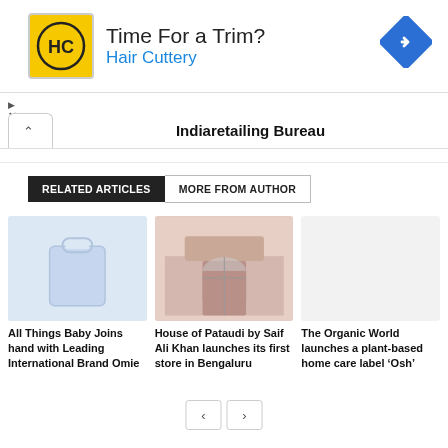[Figure (infographic): Advertisement banner for Hair Cuttery with yellow logo, text 'Time For a Trim? Hair Cuttery' and a blue diamond navigation arrow icon on the right]
Indiaretailing Bureau
RELATED ARTICLES  MORE FROM AUTHOR
[Figure (photo): Faded blue placeholder image for All Things Baby article]
All Things Baby Joins hand with Leading International Brand Omie
[Figure (photo): Photo of a House of Pataudi store front]
House of Pataudi by Saif Ali Khan launches its first store in Bengaluru
The Organic World launches a plant-based home care label ‘Osh’